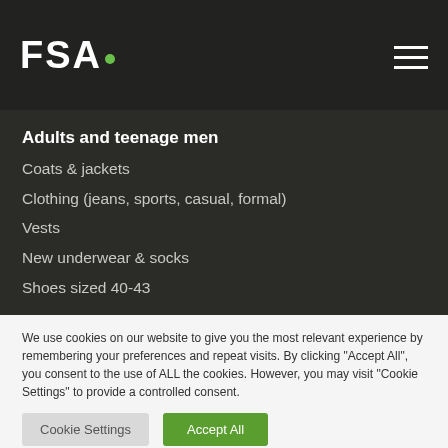FSA.
Adults and teenage men
Coats & jackets
Clothing (jeans, sports, casual, formal)
Vests
New underwear & socks
Shoes sized 40-43
We use cookies on our website to give you the most relevant experience by remembering your preferences and repeat visits. By clicking "Accept All", you consent to the use of ALL the cookies. However, you may visit "Cookie Settings" to provide a controlled consent.
Cookie Settings | Accept All